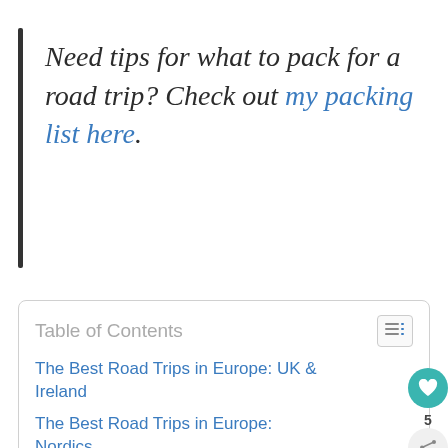Need tips for what to pack for a road trip? Check out my packing list here.
| Table of Contents |
| --- |
| The Best Road Trips in Europe: UK & Ireland |
| The Best Road Trips in Europe: Nordics |
| Best Road Trips in Europe: Western Europe |